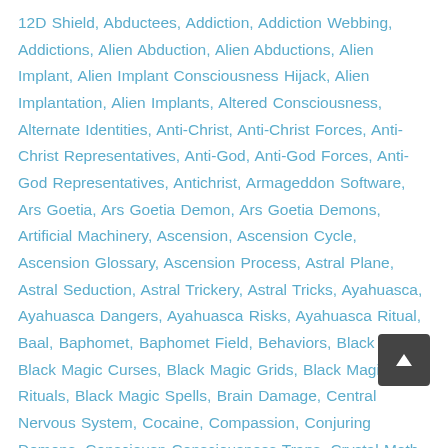12D Shield, Abductees, Addiction, Addiction Webbing, Addictions, Alien Abduction, Alien Abductions, Alien Implant, Alien Implant Consciousness Hijack, Alien Implantation, Alien Implants, Altered Consciousness, Alternate Identities, Anti-Christ, Anti-Christ Forces, Anti-Christ Representatives, Anti-God, Anti-God Forces, Anti-God Representatives, Antichrist, Armageddon Software, Ars Goetia, Ars Goetia Demon, Ars Goetia Demons, Artificial Machinery, Ascension, Ascension Cycle, Ascension Glossary, Ascension Process, Astral Plane, Astral Seduction, Astral Trickery, Astral Tricks, Ayahuasca, Ayahuasca Dangers, Ayahuasca Risks, Ayahuasca Ritual, Baal, Baphomet, Baphomet Field, Behaviors, Black Magic, Black Magic Curses, Black Magic Grids, Black Magic Rituals, Black Magic Spells, Brain Damage, Central Nervous System, Cocaine, Compassion, Conjuring Demons, Consciousness, Consciousness Traps, Crystal Meth, Curse of Yahweh, Dark Entities, Dark Force, Dark Force Infiltration, Dark Forces, Dead Energy, Demon Invocation, Demonic, Demonic Entities, Demonic Eviction, Demonic Forces, Demonic Possession,